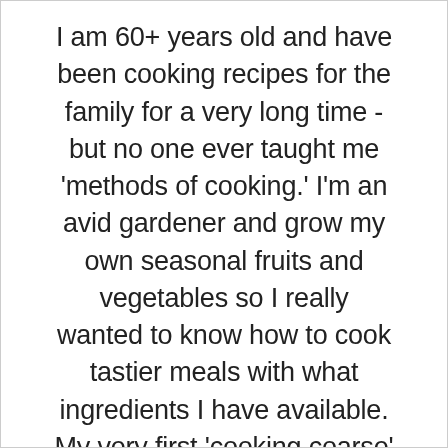I am 60+ years old and have been cooking recipes for the family for a very long time - but no one ever taught me 'methods of cooking.' I'm an avid gardener and grow my own seasonal fruits and vegetables so I really wanted to know how to cook tastier meals with what ingredients I have available. My very first 'cooking coarse' session totally changed how I had been cooking proteins for